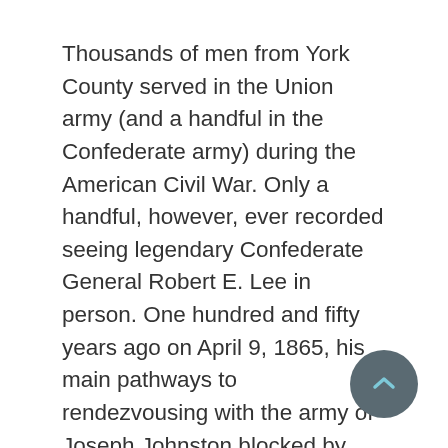Thousands of men from York County served in the Union army (and a handful in the Confederate army) during the American Civil War. Only a handful, however, ever recorded seeing legendary Confederate General Robert E. Lee in person. One hundred and fifty years ago on April 9, 1865, his main pathways to rendezvousing with the army of Joseph Johnston blocked by powerful Union forces, Lee decided to surrender rather than risk further futile bloodshed.
According to the National Park Service, a Confederate general with a strong connection to York County sent word to Lee that he could not break loose from the cordon of Federal forces. “At dawn on April 9, General John B. Gordon’s Corps attacked the Union cavalry